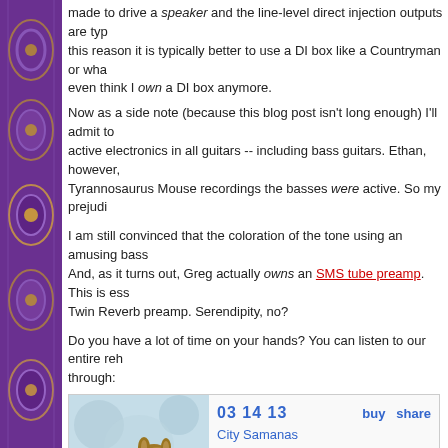made to drive a speaker and the line-level direct injection outputs are typically... this reason it is typically better to use a DI box like a Countryman or wha... even think I own a DI box anymore.
Now as a side note (because this blog post isn't long enough) I'll admit to... active electronics in all guitars -- including bass guitars. Ethan, however,... Tyrannosaurus Mouse recordings the basses were active. So my prejudi...
I am still convinced that the coloration of the tone using an amusing bass... And, as it turns out, Greg actually owns an SMS tube preamp. This is ess... Twin Reverb preamp. Serendipity, no?
Do you have a lot of time on your hands? You can listen to our entire reh... through:
[Figure (screenshot): Embedded audio player widget showing album art of a small deer/dik-dik animal, date 03 14 13, album City Samanas, track 1. A Blue Samana, duration 03:19, with buy/share links and playback controls.]
I'm sort of interested in simply plugging it directly into an M-Audio 2626 h... totally forgot that I had -- there's two of them actually). It'll be easy and st...
at March 17, 2013   No comments:   [social icons: M, B, T, f, P]